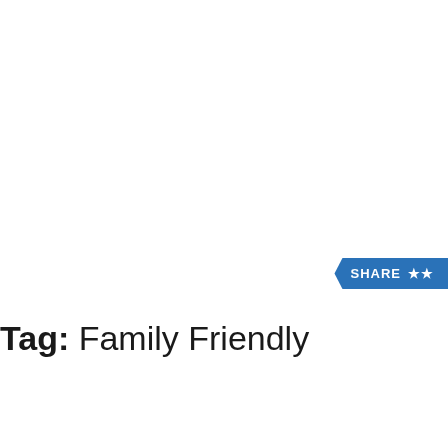SHARE
Tag: Family Friendly
[Figure (other): Advertisement box with building image thumbnail, bold title 'Generations AdventurePlex, Fun For All!' and red link 'Visit Website →']